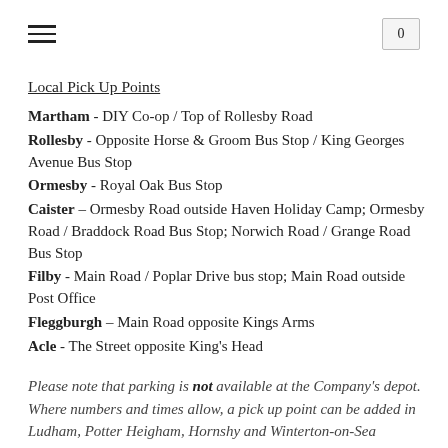≡  0
Local Pick Up Points
Martham - DIY Co-op / Top of Rollesby Road
Rollesby - Opposite Horse & Groom Bus Stop / King Georges Avenue Bus Stop
Ormesby - Royal Oak Bus Stop
Caister - Ormesby Road outside Haven Holiday Camp; Ormesby Road / Braddock Road Bus Stop; Norwich Road / Grange Road Bus Stop
Filby - Main Road / Poplar Drive bus stop; Main Road outside Post Office
Fleggburgh - Main Road opposite Kings Arms
Acle - The Street opposite King's Head
Please note that parking is not available at the Company's depot. Where numbers and times allow, a pick up point can be added in Ludham, Potter Heigham, Hornshy and Winterton-on-Sea (minimum